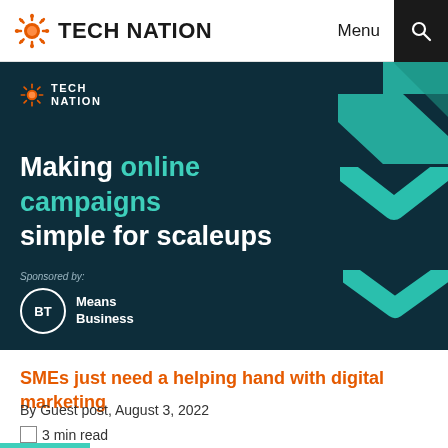TECH NATION | Menu
[Figure (screenshot): Tech Nation dark blue banner with teal chevron decorations. Shows Tech Nation logo top left, heading 'Making online campaigns simple for scaleups' with 'online campaigns' in teal, 'Sponsored by:' label, and BT Means Business logo.]
SMEs just need a helping hand with digital marketing
By Guest post, August 3, 2022
3 min read